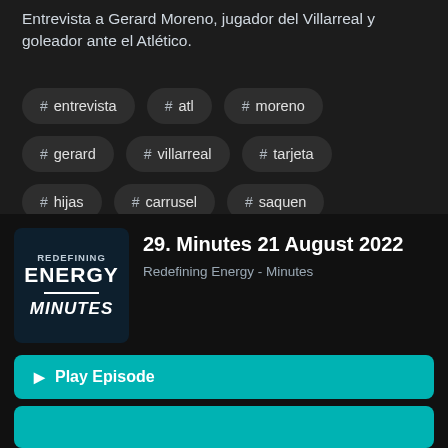Entrevista a Gerard Moreno, jugador del Villarreal y goleador ante el Atlético.
# entrevista
# atl
# moreno
# gerard
# villarreal
# tarjeta
# hijas
# carrusel
# saquen
# indignado
# canalla
29. Minutes 21 August 2022
Redefining Energy - Minutes
Play Episode